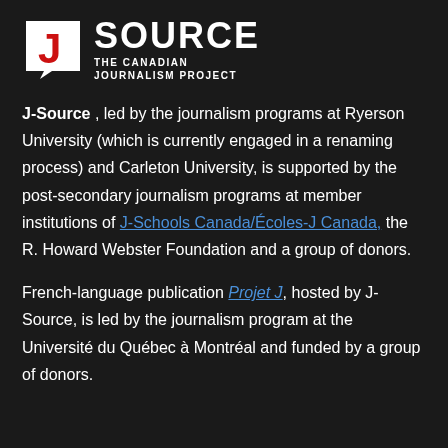[Figure (logo): J-Source logo: white speech bubble with red letter J, next to bold white 'SOURCE' text and subtitle 'THE CANADIAN JOURNALISM PROJECT']
J-Source , led by the journalism programs at Ryerson University (which is currently engaged in a renaming process) and Carleton University, is supported by the post-secondary journalism programs at member institutions of J-Schools Canada/Écoles-J Canada, the R. Howard Webster Foundation and a group of donors.
French-language publication Projet J, hosted by J-Source, is led by the journalism program at the Université du Québec à Montréal and funded by a group of donors.